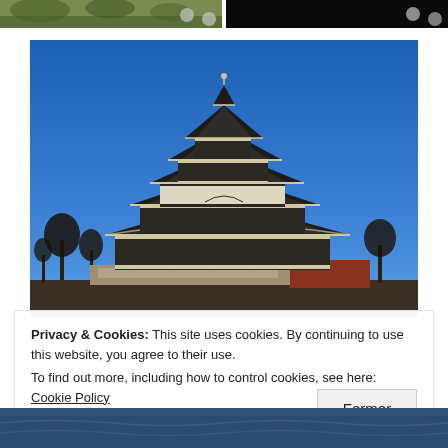[Figure (photo): Top-left thumbnail photo showing outdoors scene with greenery/trees]
[Figure (photo): Top-right thumbnail photo, very dark/black image]
[Figure (photo): Large photo of Matsumoto Castle (Japanese castle) with multiple tiers of black and white architecture against a clear blue sky, with bare trees at the base]
Privacy & Cookies: This site uses cookies. By continuing to use this website, you agree to their use. To find out more, including how to control cookies, see here: Cookie Policy
Fermer
[Figure (photo): Bottom strip showing water/lake reflection, dark blue]